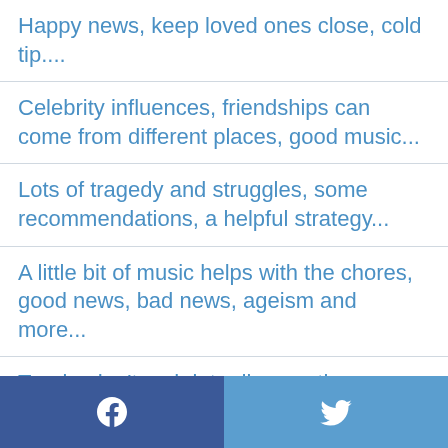Happy news, keep loved ones close, cold tip....
Celebrity influences, friendships can come from different places, good music...
Lots of tragedy and struggles, some recommendations, a helpful strategy...
A little bit of music helps with the chores, good news, bad news, ageism and more...
Tragic, don't rush into divorce, the grass probably isn't greener...
What was James doing, losing virginity, marrying for the third time, horrible bullying...
Facebook | Twitter